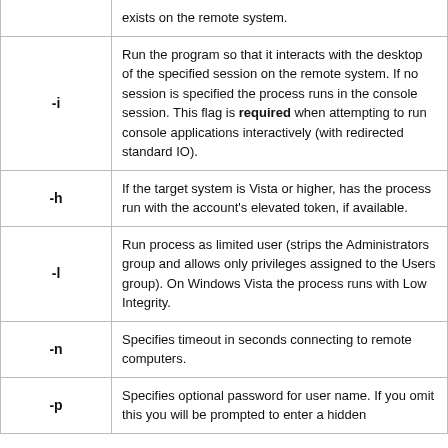| Flag | Description |
| --- | --- |
|  | exists on the remote system. |
| -i | Run the program so that it interacts with the desktop of the specified session on the remote system. If no session is specified the process runs in the console session. This flag is required when attempting to run console applications interactively (with redirected standard IO). |
| -h | If the target system is Vista or higher, has the process run with the account's elevated token, if available. |
| -l | Run process as limited user (strips the Administrators group and allows only privileges assigned to the Users group). On Windows Vista the process runs with Low Integrity. |
| -n | Specifies timeout in seconds connecting to remote computers. |
| -p | Specifies optional password for user name. If you omit this you will be prompted to enter a hidden |